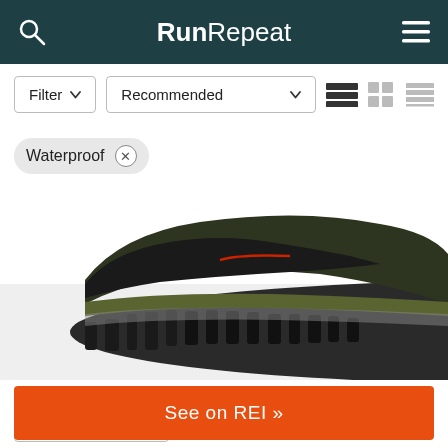RunRepeat
Filter ▼   Recommended ▼
Waterproof ×
[Figure (photo): Close-up of the sole and lower side of a trail running/hiking shoe with dark olive green and black coloring. The outsole features deep lugs. The shoe appears to be made by Adidas (Terrex) based on visible branding.]
Size ▼   $180  $95   Save 47%
See on REI »